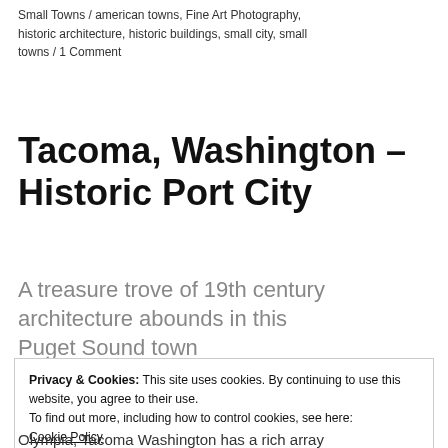Small Towns / american towns, Fine Art Photography, historic architecture, historic buildings, small city, small towns / 1 Comment
Tacoma, Washington – Historic Port City
A treasure trove of 19th century architecture abounds in this Puget Sound town
Privacy & Cookies: This site uses cookies. By continuing to use this website, you agree to their use.
To find out more, including how to control cookies, see here: Cookie Policy
Close and accept
Olympia, Tacoma Washington has a rich array